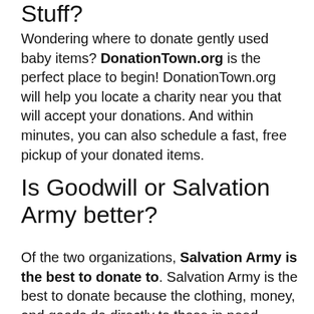Stuff?
Wondering where to donate gently used baby items? DonationTown.org is the perfect place to begin! DonationTown.org will help you locate a charity near you that will accept your donations. And within minutes, you can also schedule a fast, free pickup of your donated items.
Is Goodwill or Salvation Army better?
Of the two organizations, Salvation Army is the best to donate to. Salvation Army is the best to donate because the clothing, money, and goods do directly to those in need. Goodwill certainly helps those in need,